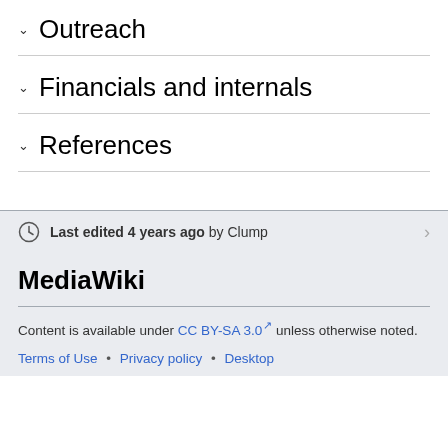∨ Outreach
∨ Financials and internals
∨ References
Last edited 4 years ago by Clump
MediaWiki
Content is available under CC BY-SA 3.0 unless otherwise noted.
Terms of Use • Privacy policy • Desktop